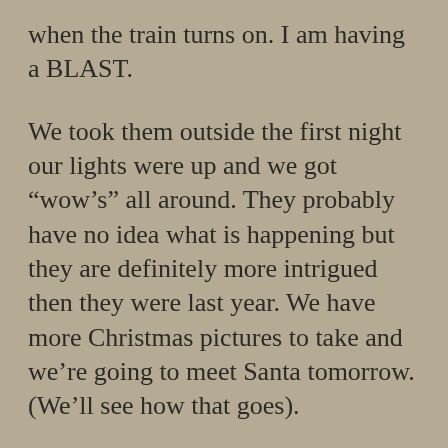when the train turns on. I am having a BLAST.
We took them outside the first night our lights were up and we got “wow’s” all around. They probably have no idea what is happening but they are definitely more intrigued then they were last year. We have more Christmas pictures to take and we’re going to meet Santa tomorrow. (We’ll see how that goes).
Stay tuned for more pictures. I’m sorry if I’m sparcely on here for right now,